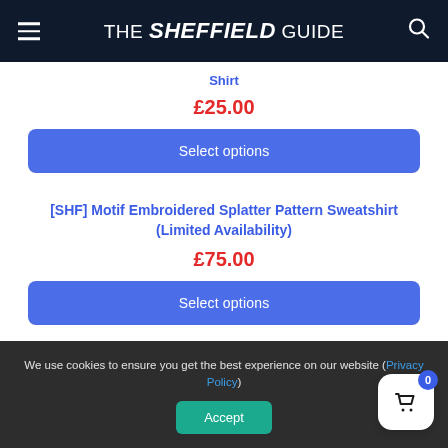THE Sheffield GUIDE
Shirt
£25.00
Select options
[SHF] Motif Embroidered Splatter Pattern Sweatshirt (Limited Availability)
£75.00
Select options
We use cookies to ensure you get the best experience on our website (Privacy Policy)
Accept